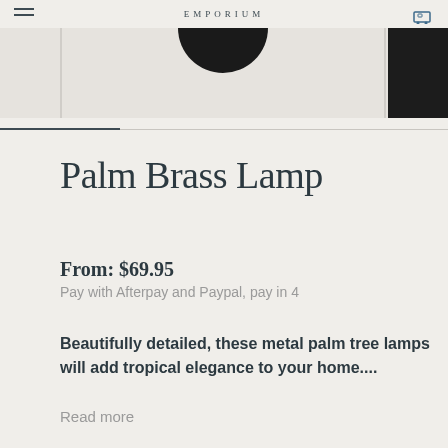EMPORIUM
[Figure (photo): Product image strip showing a lamp with dark circular base centered, and dark image panel on the right edge]
Palm Brass Lamp
From: $69.95
Pay with Afterpay and Paypal, pay in 4
Beautifully detailed, these metal palm tree lamps will add tropical elegance to your home....
Read more